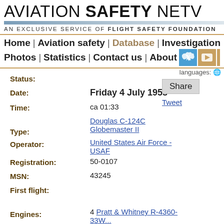AVIATION SAFETY NETW...
AN EXCLUSIVE SERVICE OF FLIGHT SAFETY FOUNDATION
Home | Aviation safety | Database | Investigation | N... Photos | Statistics | Contact us | About
languages:
Status:
Date: Friday 4 July 1958
Time: ca 01:33
Type: Douglas C-124C Globemaster II
Operator: United States Air Force - USAF
Registration: 50-0107
MSN: 43245
First flight:
Engines: 4 Pratt & Whitney R-4360-...